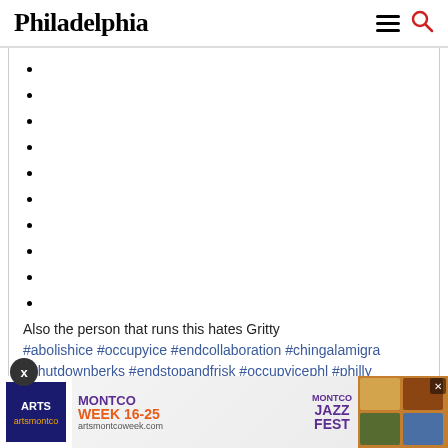Philadelphia
Also the person that runs this hates Gritty
#abolishice #occupyice #endcollaboration #chingalamigra #shutdownberks #endstopandfrisk #occupyicephl #philly #philadelphia #endpars #grittycity #gritty #expandsanctuary #endfamilydetention
view all comments
Add a comment...
[Figure (other): Montco Week Sept 16-25 Montco Jazz Fest advertisement banner with artsmontcoweek.com URL]